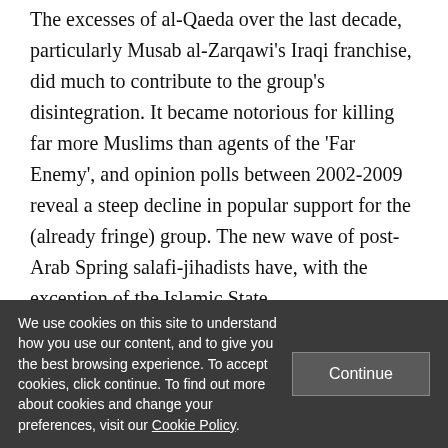The excesses of al-Qaeda over the last decade, particularly Musab al-Zarqawi's Iraqi franchise, did much to contribute to the group's disintegration. It became notorious for killing far more Muslims than agents of the 'Far Enemy', and opinion polls between 2002-2009 reveal a steep decline in popular support for the (already fringe) group. The new wave of post-Arab Spring salafi-jihadists have, with the exception of the Islamic State.
We use cookies on this site to understand how you use our content, and to give you the best browsing experience. To accept cookies, click continue. To find out more about cookies and change your preferences, visit our Cookie Policy.